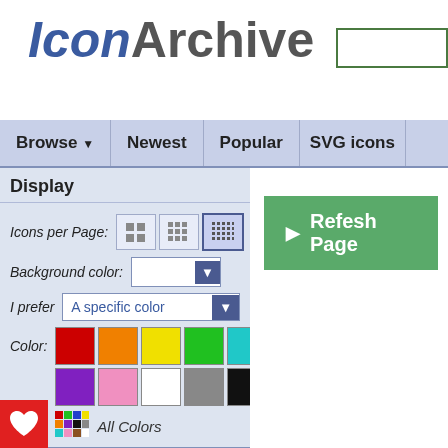[Figure (logo): IconArchive logo — 'Icon' in bold blue italic, 'Archive' in bold gray]
[Figure (screenshot): Search input box with green border in top right of header]
Browse ▼   Newest   Popular   SVG icons
Display
Icons per Page: [grid size buttons]
Background color: [white dropdown]
I prefer A specific color [dropdown]
Color: [color swatches: red, orange, yellow, green, cyan, blue, purple, pink, white, gray, black, brown] All Colors
Search Filters
Size: 512 x 512px [dropdown]
Category: Media [dropdown]
e: Photorealistic [dropdown]
[Figure (screenshot): Green 'Refresh Page' button with right-pointing triangle]